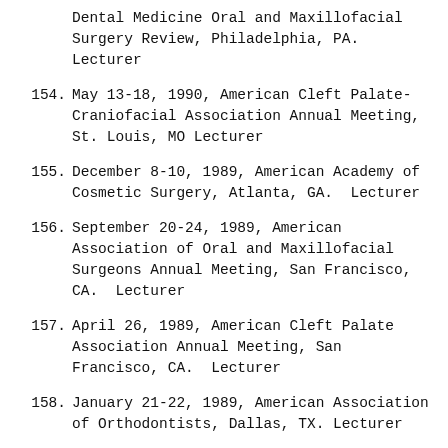Dental Medicine Oral and Maxillofacial Surgery Review, Philadelphia, PA.  Lecturer
154.  May 13-18, 1990, American Cleft Palate-Craniofacial Association Annual Meeting, St. Louis, MO Lecturer
155.  December 8-10, 1989, American Academy of Cosmetic Surgery, Atlanta, GA.  Lecturer
156.  September 20-24, 1989, American Association of Oral and Maxillofacial Surgeons Annual Meeting, San Francisco, CA.  Lecturer
157.  April 26, 1989, American Cleft Palate Association Annual Meeting, San Francisco, CA.  Lecturer
158.  January 21-22, 1989, American Association of Orthodontists, Dallas, TX. Lecturer
159.  October 28, 1988, American Academy of Cosmetic Surgery, Hollywood, FL. Lecturer
160.  September 28 – October 3, 1988, American